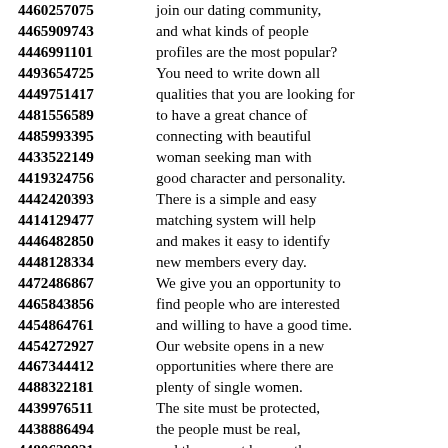4460257075 join our dating community,
4465909743 and what kinds of people
4446991101 profiles are the most popular?
4493654725 You need to write down all
4449751417 qualities that you are looking for
4481556589 to have a great chance of
4485993395 connecting with beautiful
4433522149 woman seeking man with
4419324756 good character and personality.
4442420393 There is a simple and easy
4414129477 matching system will help
4446482850 and makes it easy to identify
4448128334 new members every day.
4472486867 We give you an opportunity to
4465843856 find people who are interested
4454864761 and willing to have a good time.
4454272927 Our website opens in a new
4467344412 opportunities where there are
4488322181 plenty of single women.
4439976511 The site must be protected,
4438886494 the people must be real,
4480639921 and there must be no other
4430813366 bad information on the web,
4452627737 that's pretty good, right?
4433305827 Why would a beautiful girl
4428465582 want to leave her country,